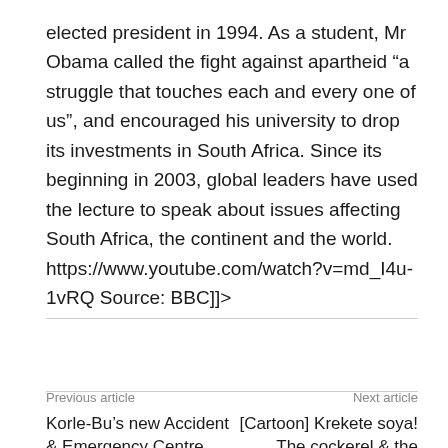elected president in 1994. As a student, Mr Obama called the fight against apartheid “a struggle that touches each and every one of us”, and encouraged his university to drop its investments in South Africa. Since its beginning in 2003, global leaders have used the lecture to speak about issues affecting South Africa, the continent and the world. https://www.youtube.com/watch?v=md_I4u-1vRQ Source: BBC]]>
Previous article | Next article
Korle-Bu’s new Accident & Emergency Centre opens on Friday
[Cartoon] Krekete soya! The cockerel & the palm wine talk